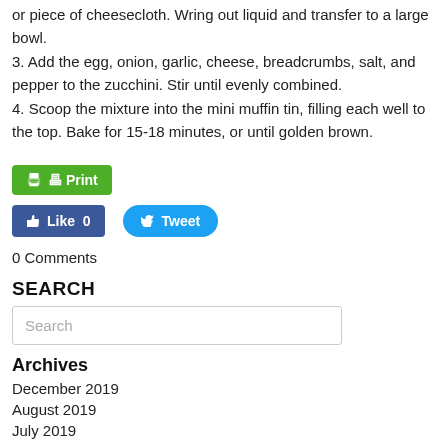or piece of cheesecloth. Wring out liquid and transfer to a large bowl.
3. Add the egg, onion, garlic, cheese, breadcrumbs, salt, and pepper to the zucchini. Stir until evenly combined.
4. Scoop the mixture into the mini muffin tin, filling each well to the top. Bake for 15-18 minutes, or until golden brown.
[Figure (screenshot): Green Print button with printer icon]
[Figure (screenshot): Blue Facebook Like button showing 0 likes and blue Twitter Tweet button]
0 Comments
SEARCH
Search
Archives
December 2019
August 2019
July 2019